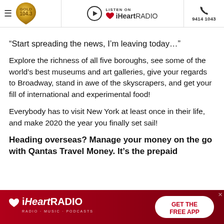Gold 104.3 | Listen on iHeartRADIO | 9414 1043
“Start spreading the news, I’m leaving today…”
Explore the richness of all five boroughs, see some of the world’s best museums and art galleries, give your regards to Broadway, stand in awe of the skyscrapers, and get your fill of international and experimental food!
Everybody has to visit New York at least once in their life, and make 2020 the year you finally set sail!
Heading overseas? Manage your money on the go with Qantas Travel Money. It’s the prepaid
[Figure (infographic): iHeartRADIO advertisement banner with red background, iHeartRADIO logo on left and GET THE FREE APP button on right]